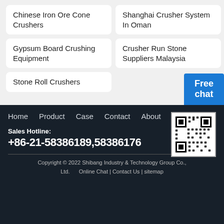Chinese Iron Ore Cone Crushers
Shanghai Crusher System In Oman
Gypsum Board Crushing Equipment
Crusher Run Stone Suppliers Malaysia
Stone Roll Crushers
Free chat
Home  Product  Case  Contact  About
[Figure (other): QR code for website]
Sales Hotline:
+86-21-58386189,58386176
Copyright © 2022 Shibang Industry & Technology Group Co., Ltd.  Online Chat | Contact Us | sitemap